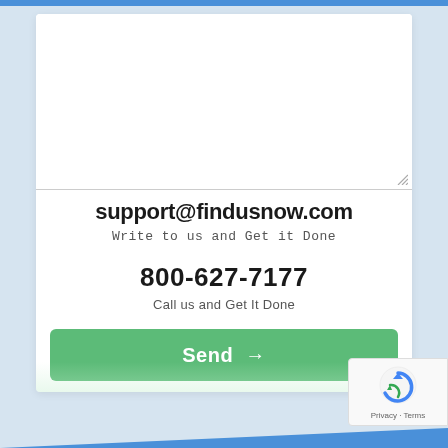[Figure (screenshot): White card form with a textarea at the top (mostly empty, with resize handle), contact info in center, and a green Send button at bottom. Background is light blue/grey. A reCAPTCHA badge appears at bottom right.]
support@findusnow.com
Write to us and Get it Done
800-627-7177
Call us and Get It Done
Send →
Privacy · Terms